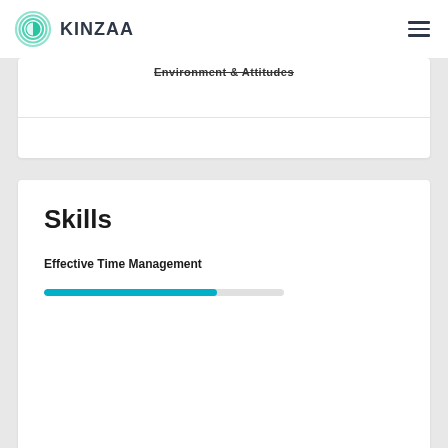KINZAA
Environment & Attitudes
Skills
Effective Time Management